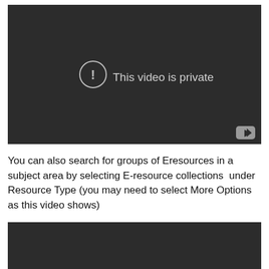[Figure (screenshot): A dark video player showing 'This video is private' message with a circle-exclamation icon and a YouTube logo button in the bottom right corner.]
You can also search for groups of Eresources in a subject area by selecting E-resource collections  under Resource Type (you may need to select More Options as this video shows)
[Figure (screenshot): Bottom portion of a dark video player, partially visible.]